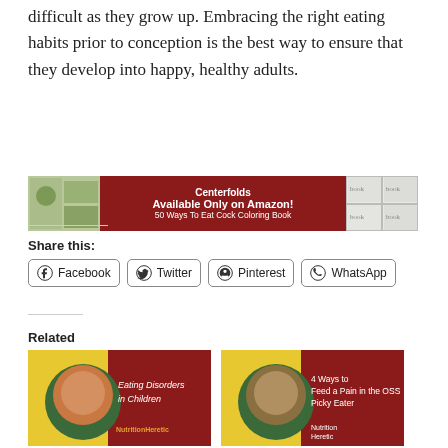difficult as they grow up. Embracing the right eating habits prior to conception is the best way to ensure that they develop into happy, healthy adults.
[Figure (illustration): Advertisement banner for Centerfolds coloring book on Amazon. Dark red background with white bold text reading 'Centerfolds Available Only on Amazon! 50 Ways To Eat Cock Coloring Book'. Decorative images on left and right sides.]
Share this:
Facebook
Twitter
Pinterest
WhatsApp
Related
[Figure (photo): Thumbnail for 'Eating Disorders in Children' article. Yellow and dark red background with a photo of a child and text.]
Eating Disorders in Children
[Figure (photo): Thumbnail for '4 Ways to Feed a Pain in the OSS Picky Eater' article. Yellow and dark red background with a photo of a child and text.]
4 Ways to Feed a Pain in the